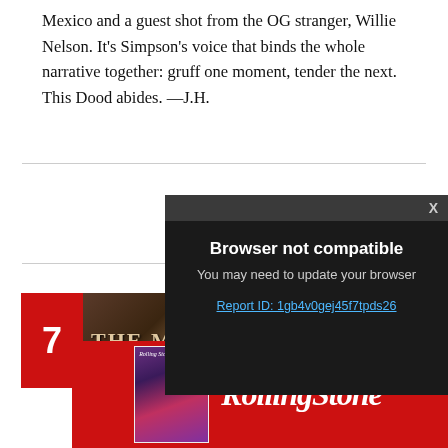Mexico and a guest shot from the OG stranger, Willie Nelson. It's Simpson's voice that binds the whole narrative together: gruff one moment, tender the next. This Dood abides. —J.H.
[Figure (screenshot): Browser not compatible modal dialog with dark background. Shows title 'Browser not compatible', subtitle 'You may need to update your browser', and a link 'Report ID: 1gb4v0gej45f7tpds26'. Has an X close button in the top right corner.]
[Figure (other): Partial album cover or magazine image with a red badge showing the number 7 on the left side. Text 'THE M' visible in stylized lettering on a dark textured background.]
[Figure (other): Rolling Stone advertisement banner with red background. Shows a magazine cover on the left and the Rolling Stone logo in white italic text.]